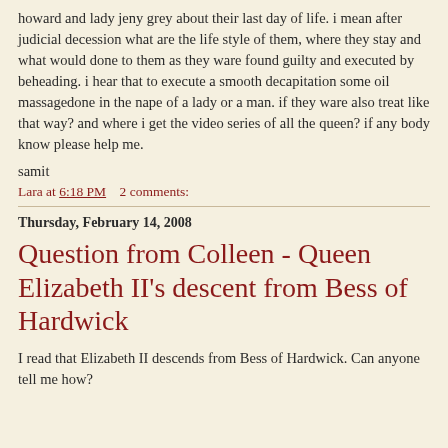howard and lady jeny grey about their last day of life. i mean after judicial decession what are the life style of them, where they stay and what would done to them as they ware found guilty and executed by beheading. i hear that to execute a smooth decapitation some oil massagedone in the nape of a lady or a man. if they ware also treat like that way? and where i get the video series of all the queen? if any body know please help me.
samit
Lara at 6:18 PM    2 comments:
Thursday, February 14, 2008
Question from Colleen - Queen Elizabeth II's descent from Bess of Hardwick
I read that Elizabeth II descends from Bess of Hardwick. Can anyone tell me how?